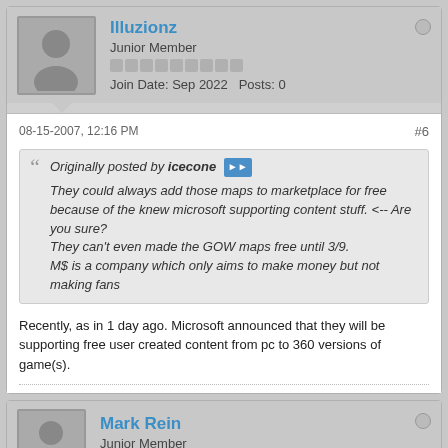Illuzionz
Junior Member
Join Date: Sep 2022   Posts: 0
08-15-2007, 12:16 PM
#6
Originally posted by icecone
They could always add those maps to marketplace for free because of the knew microsoft supporting content stuff. <-- Are you sure?
They can't even made the GOW maps free until 3/9.
M$ is a company which only aims to make money but not making fans
Recently, as in 1 day ago. Microsoft announced that they will be supporting free user created content from pc to 360 versions of game(s).
Mark Rein
Junior Member